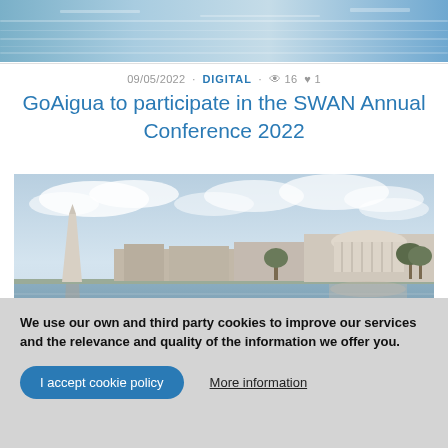[Figure (photo): Top banner image showing water reflections with blue tones]
09/05/2022 · DIGITAL · 👁 16 🤍 1
GoAigua to participate in the SWAN Annual Conference 2022
[Figure (photo): Photograph of Washington DC skyline showing the Washington Monument and Jefferson Memorial reflected in the Tidal Basin]
We use our own and third party cookies to improve our services and the relevance and quality of the information we offer you.
I accept cookie policy
More information